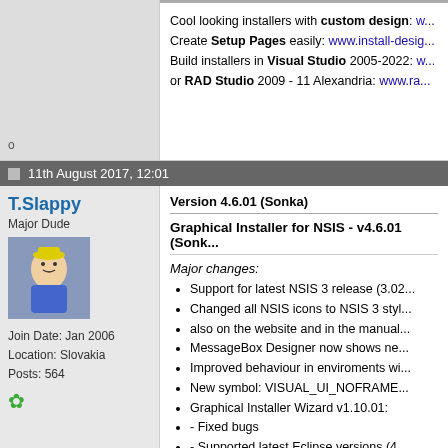Cool looking installers with custom design: w...
Create Setup Pages easily: www.install-desig...
Build installers in Visual Studio 2005-2022: w...
or RAD Studio 2009 - 11 Alexandria: www.ra...
11th August 2017, 12:01
T.Slappy
Major Dude
Join Date: Jan 2006
Location: Slovakia
Posts: 564
Version 4.6.01 (Sonka)
Graphical Installer for NSIS - v4.6.01 (Sonk...
Major changes:
Support for latest NSIS 3 release (3.02...
Changed all NSIS icons to NSIS 3 styl...
also on the website and in the manual...
MessageBox Designer now shows ne...
Improved behaviour in enviroments wi...
New symbol: VISUAL_UI_NOFRAME...
Graphical Installer Wizard v1.10.01:
- Fixed bugs
- Supported latest Eclipse versions (4....
- Full support for 4 IDEs (Visual Studio...
Updated tools (BitmapCutter + GUI)
Various improvements and fixes
Minor changes: